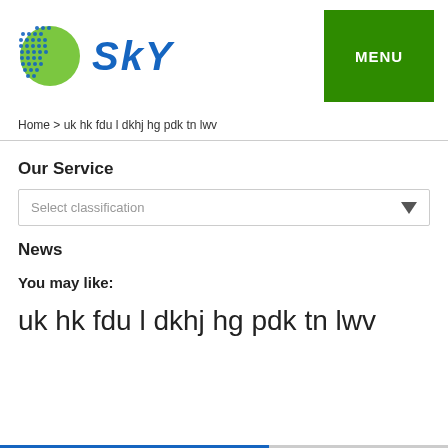[Figure (logo): SKY logo with globe icon (blue dotted globe with green landmass) and italic blue SKY text]
Home > uk hk fdu l dkhj hg pdk tn lwv
Our Service
Select classification
News
You may like:
uk hk fdu l dkhj hg pdk tn lwv